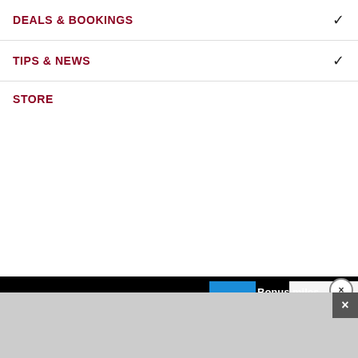DEALS & BOOKINGS
TIPS & NEWS
STORE
[Figure (screenshot): Video advertisement overlay showing a Citi bonus miles ad with 'Learn More' button, video progress bar at 00:08/00:20, pause button and mute controls, over a video of people on a deck with tropical greenery. Footer shows copyright 2022 Frommers and links: About, Contact Us, FAQ, Help, Site Map, Press Room.]
[Figure (screenshot): Gray advertisement banner at the bottom with a close (X) button in the top right corner.]